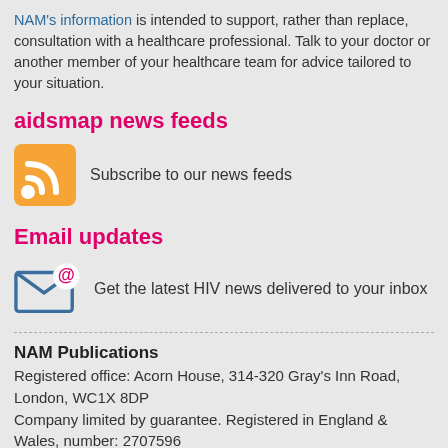NAM's information is intended to support, rather than replace, consultation with a healthcare professional. Talk to your doctor or another member of your healthcare team for advice tailored to your situation.
aidsmap news feeds
Subscribe to our news feeds
Email updates
Get the latest HIV news delivered to your inbox
NAM Publications
Registered office: Acorn House, 314-320 Gray's Inn Road, London, WC1X 8DP
Company limited by guarantee. Registered in England & Wales, number: 2707596
Registered charity, number: 1011220
© NAM Publications, 2022. All rights reserved. NAM is not responsible for the